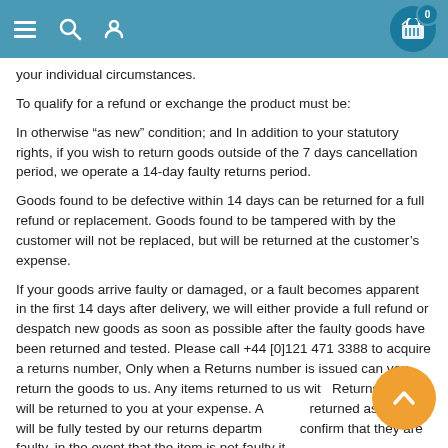Navigation header with menu, search, user, and basket icons
your individual circumstances.
To qualify for a refund or exchange the product must be:
In otherwise “as new” condition; and In addition to your statutory rights, if you wish to return goods outside of the 7 days cancellation period, we operate a 14-day faulty returns period.
Goods found to be defective within 14 days can be returned for a full refund or replacement. Goods found to be tampered with by the customer will not be replaced, but will be returned at the customer’s expense.
If your goods arrive faulty or damaged, or a fault becomes apparent in the first 14 days after delivery, we will either provide a full refund or despatch new goods as soon as possible after the faulty goods have been returned and tested. Please call +44 [0]121 471 3388 to acquire a returns number, Only when a Returns number is issued can you return the goods to us. Any items returned to us with Returns number will be returned to you at your expense. A returned as faulty will be fully tested by our returns department confirm that they are faulty, in the event that the item is not faulty it